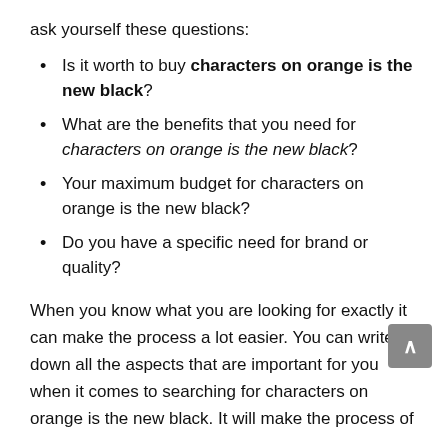ask yourself these questions:
Is it worth to buy characters on orange is the new black?
What are the benefits that you need for characters on orange is the new black?
Your maximum budget for characters on orange is the new black?
Do you have a specific need for brand or quality?
When you know what you are looking for exactly it can make the process a lot easier. You can write down all the aspects that are important for you when it comes to searching for characters on orange is the new black. It will make the process of